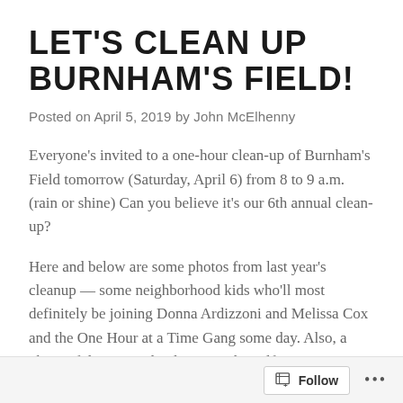LET'S CLEAN UP BURNHAM'S FIELD!
Posted on April 5, 2019 by John McElhenny
Everyone's invited to a one-hour clean-up of Burnham's Field tomorrow (Saturday, April 6) from 8 to 9 a.m. (rain or shine) Can you believe it's our 6th annual clean-up?
Here and below are some photos from last year's cleanup — some neighborhood kids who'll most definitely be joining Donna Ardizzoni and Melissa Cox and the One Hour at a Time Gang some day. Also, a photo of the one and only Donna herself.
Bring a rake or broom or gloves or just yourself – we'll bring the yellow trash bags. Burnham's Field is
Follow